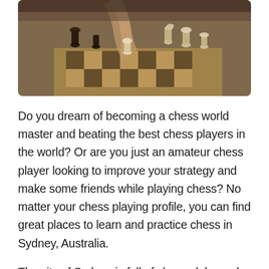[Figure (photo): A close-up photograph of hands playing chess, showing multiple chess pieces including pawns, knights, bishops, and rooks on a chessboard. The image is taken from above and slightly to the side, showing a player moving a piece.]
Do you dream of becoming a chess world master and beating the best chess players in the world? Or are you just an amateur chess player looking to improve your strategy and make some friends while playing chess? No matter your chess playing profile, you can find great places to learn and practice chess in Sydney, Australia.
The city of Sydney is full of chess clubs and associations where you can join chess players from NSW and start practising, learning new skills and